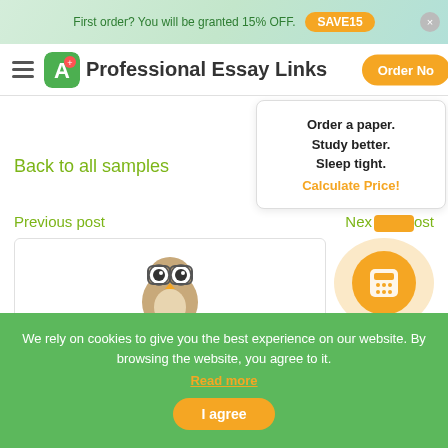First order? You will be granted 15% OFF. SAVE15
Professional Essay Links  Order Now
Back to all samples
Order a paper. Study better. Sleep tight. Calculate Price!
Previous post
Next post
We rely on cookies to give you the best experience on our website. By browsing the website, you agree to it. Read more
I agree